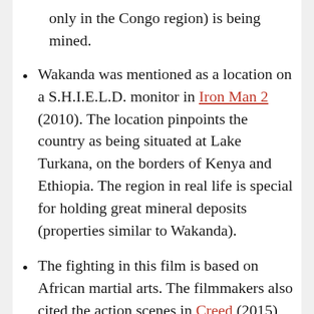only in the Congo region) is being mined.
Wakanda was mentioned as a location on a S.H.I.E.L.D. monitor in Iron Man 2 (2010). The location pinpoints the country as being situated at Lake Turkana, on the borders of Kenya and Ethiopia. The region in real life is special for holding great mineral deposits (properties similar to Wakanda).
The fighting in this film is based on African martial arts. The filmmakers also cited the action scenes in Creed (2015) and the Kingsman films as an influence on the style.
The Black Panther was created in July 1966, two months before the founding of the Black Panther Party. Many people mistakenly assumed the name referred to the Party, so the character was